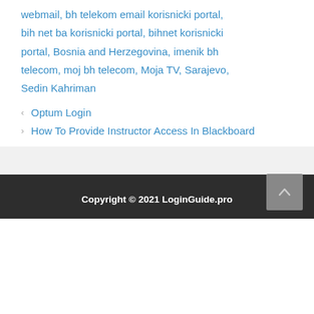webmail, bh telekom email korisnicki portal, bih net ba korisnicki portal, bihnet korisnicki portal, Bosnia and Herzegovina, imenik bh telecom, moj bh telecom, Moja TV, Sarajevo, Sedin Kahriman
< Optum Login
> How To Provide Instructor Access In Blackboard
Copyright © 2021 LoginGuide.pro